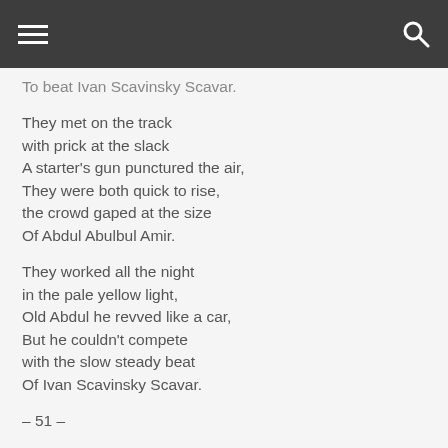≡  🔍
To beat Ivan Scavinsky Scavar.
They met on the track
with prick at the slack
A starter's gun punctured the air,
They were both quick to rise,
the crowd gaped at the size
Of Abdul Abulbul Amir.
They worked all the night
in the pale yellow light,
Old Abdul he revved like a car,
But he couldn't compete
with the slow steady beat
Of Ivan Scavinsky Scavar.
– 51 –
So Ivan he won and he shouldered his gun,